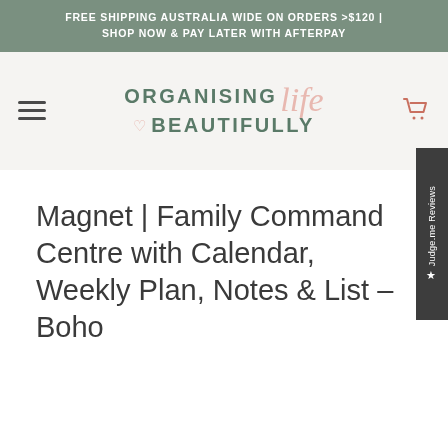FREE SHIPPING AUSTRALIA WIDE ON ORDERS >$120 | SHOP NOW & PAY LATER WITH AFTERPAY
[Figure (logo): Organising life Beautifully logo with heart symbol]
Magnet | Family Command Centre with Calendar, Weekly Plan, Notes & List – Boho